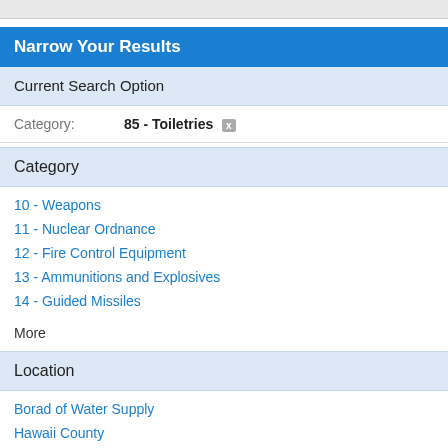Narrow Your Results
Current Search Option
Category: 85 - Toiletries ×
Category
10 - Weapons
11 - Nuclear Ordnance
12 - Fire Control Equipment
13 - Ammunitions and Explosives
14 - Guided Missiles
More
Location
Borad of Water Supply
Hawaii County
Honolulu County